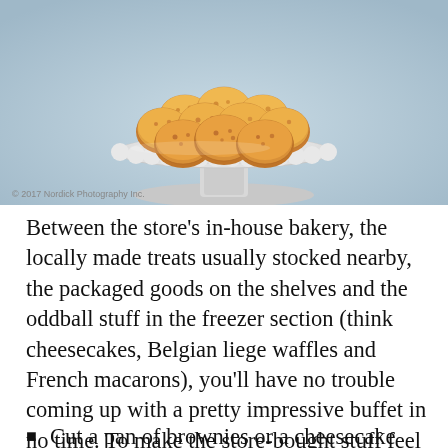[Figure (photo): A white pedestal cake stand holding a pile of golden-brown coconut macaroons or similar baked treats, against a soft blue-grey background. Copyright watermark reads '© 2017 Nordick Photography Inc.' in bottom left.]
Between the store's in-house bakery, the locally made treats usually stocked nearby, the packaged goods on the shelves and the oddball stuff in the freezer section (think cheesecakes, Belgian liege waffles and French macarons), you'll have no trouble coming up with a pretty impressive buffet in no time. To make the store-bought stuff feel special, just customize them with a few finishing touches.
Cut a pan of brownies or a cheesecake into